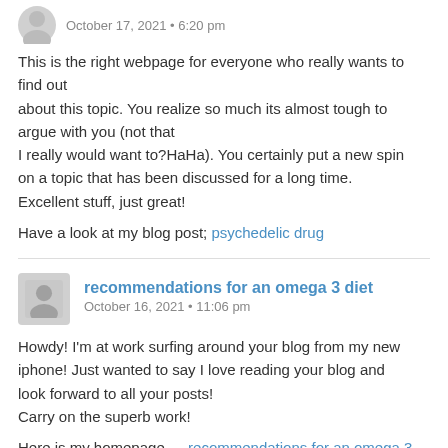October 17, 2021 • 6:20 pm
This is the right webpage for everyone who really wants to find out about this topic. You realize so much its almost tough to argue with you (not that I really would want to?HaHa). You certainly put a new spin on a topic that has been discussed for a long time. Excellent stuff, just great!
Have a look at my blog post; psychedelic drug
recommendations for an omega 3 diet
October 16, 2021 • 11:06 pm
Howdy! I'm at work surfing around your blog from my new iphone! Just wanted to say I love reading your blog and look forward to all your posts! Carry on the superb work!
Here is my homepage … recommendations for an omega 3 diet